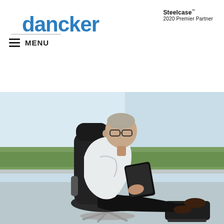dancker
[Figure (logo): Steelcase 2020 Premier Partner logo]
MENU
Leap
[Figure (photo): A man wearing glasses and a white shirt sitting reclined in a black Steelcase Leap office chair with a matching footrest, using a tablet, in front of a large window with greenery outside]